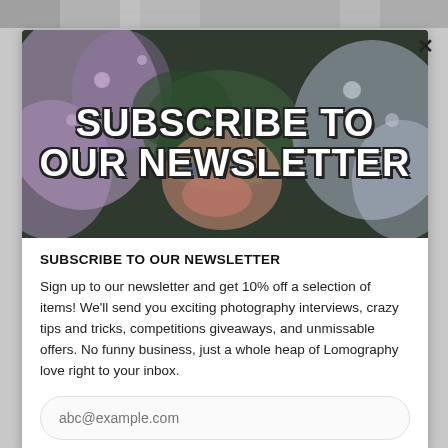[Figure (photo): Top strip showing decorative image background in grayscale tones]
[Figure (photo): Newsletter subscription banner showing a person's face surrounded by purple flowers with bold white text overlay reading 'SUBSCRIBE TO OUR NEWSLETTER']
SUBSCRIBE TO OUR NEWSLETTER
Sign up to our newsletter and get 10% off a selection of items! We'll send you exciting photography interviews, crazy tips and tricks, competitions giveaways, and unmissable offers. No funny business, just a whole heap of Lomography love right to your inbox.
abc@example.com